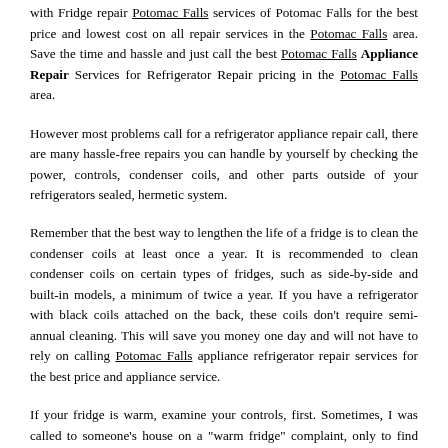However, they do fail to do their jobs sufficiently from time to time, and when they do the final results can be serious because high priced food items can spoil in a hurry. Don't fuss pick up the phone and get in touch with Fridge repair Potomac Falls services of Potomac Falls for the best price and lowest cost on all repair services in the Potomac Falls area. Save the time and hassle and just call the best Potomac Falls Appliance Repair Services for Refrigerator Repair pricing in the Potomac Falls area.
However most problems call for a refrigerator appliance repair call, there are many hassle-free repairs you can handle by yourself by checking the power, controls, condenser coils, and other parts outside of your refrigerators sealed, hermetic system.
Remember that the best way to lengthen the life of a fridge is to clean the condenser coils at least once a year. It is recommended to clean condenser coils on certain types of fridges, such as side-by-side and built-in models, a minimum of twice a year. If you have a refrigerator with black coils attached on the back, these coils don't require semi-annual cleaning. This will save you money one day and will not have to rely on calling Potomac Falls appliance refrigerator repair services for the best price and appliance service.
If your fridge is warm, examine your controls, first. Sometimes, I was called to someone's house on a "warm fridge" complaint, only to find that the controls had been magically shut off. Call Refrigerator Repair Potomac Falls Services.